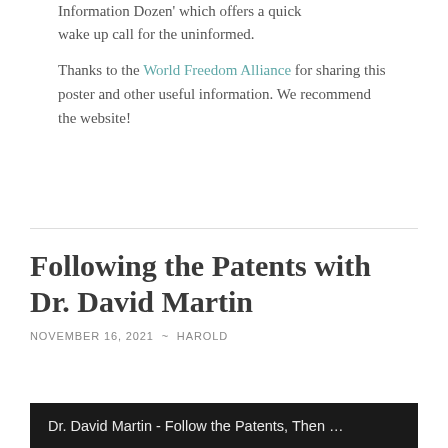Information Dozen' which offers a quick wake up call for the uninformed.
Thanks to the World Freedom Alliance for sharing this poster and other useful information. We recommend the website!
Following the Patents with Dr. David Martin
NOVEMBER 16, 2021 ~ HAROLD
[Figure (screenshot): Dark video thumbnail with text: Dr. David Martin - Follow the Patents, Then …]